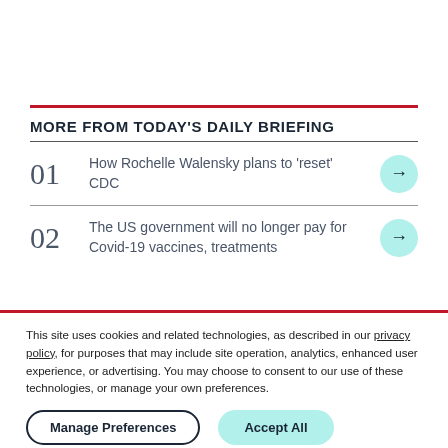MORE FROM TODAY'S DAILY BRIEFING
01 How Rochelle Walensky plans to 'reset' CDC
02 The US government will no longer pay for Covid-19 vaccines, treatments
This site uses cookies and related technologies, as described in our privacy policy, for purposes that may include site operation, analytics, enhanced user experience, or advertising. You may choose to consent to our use of these technologies, or manage your own preferences.
Manage Preferences
Accept All